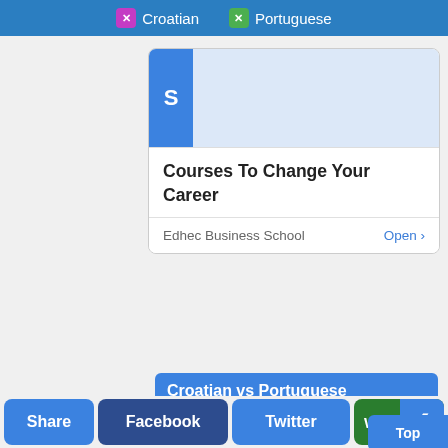X Croatian  X Portuguese
[Figure (screenshot): Advertisement card for 'Courses To Change Your Career' from Edhec Business School with Open button]
Croatian vs Portuguese Alphabets
Wondering about the number of letters in Croatian and Portuguese alphabets? When you compare Croatian vs Portuguese alphabets you will understand the number of alphabets in both the languages. Because
Share  Facebook  Twitter  Wh[atsApp]